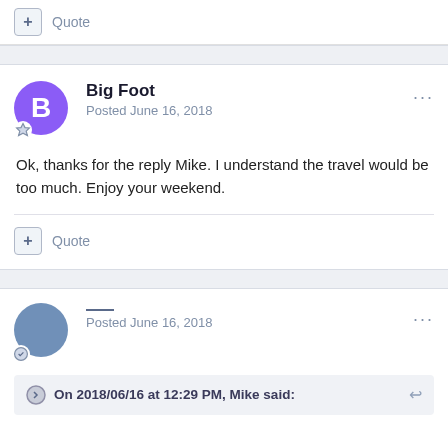+ Quote
Big Foot
Posted June 16, 2018
Ok, thanks for the reply Mike. I understand the travel would be too much. Enjoy your weekend.
+ Quote
Posted June 16, 2018
On 2018/06/16 at 12:29 PM, Mike said: